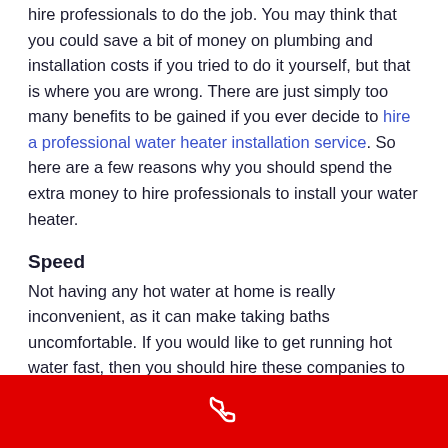hire professionals to do the job. You may think that you could save a bit of money on plumbing and installation costs if you tried to do it yourself, but that is where you are wrong. There are just simply too many benefits to be gained if you ever decide to hire a professional water heater installation service. So here are a few reasons why you should spend the extra money to hire professionals to install your water heater.
Speed
Not having any hot water at home is really inconvenient, as it can make taking baths uncomfortable. If you would like to get running hot water fast, then you should hire these companies to install a heater. They can do the job of installing a water heater quite fast.
[Figure (other): Red footer bar with white phone handset icon]